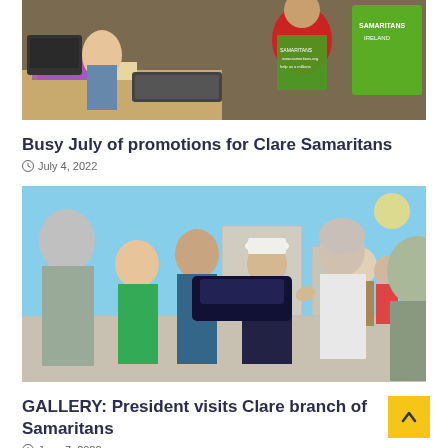[Figure (photo): Photo of Samaritans volunteers at a desk with green Samaritans vests and a Samaritans Ireland banner]
Busy July of promotions for Clare Samaritans
July 4, 2022
[Figure (photo): Group of people outdoors on a sunny day including a man in a white hat and suit, likely a political or public figure, greeting people from Clare Samaritans]
GALLERY: President visits Clare branch of Samaritans
June 7, 2022
[Figure (photo): Partial view of another article image showing a person and books/shelving with 'ME HOPE' text visible]